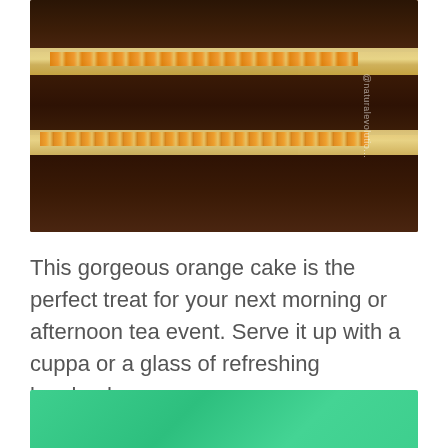[Figure (photo): Close-up photo of sliced chocolate orange cake with cream and orange filling between dark cake layers, placed on a wooden surface. Watermark '@naturalevolutio...' visible on right side.]
This gorgeous orange cake is the perfect treat for your next morning or afternoon tea event. Serve it up with a cuppa or a glass of refreshing kombucha.
[Figure (other): Green/teal colored banner at the bottom of the page, partially visible.]